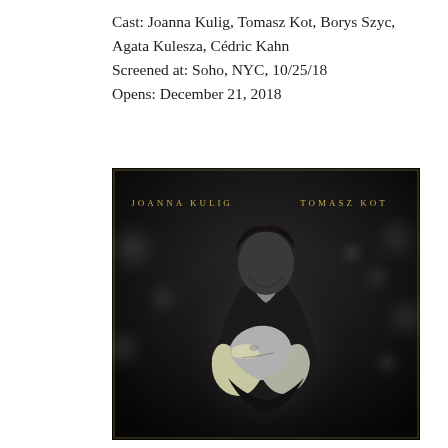Cast: Joanna Kulig, Tomasz Kot, Borys Szyc, Agata Kulesza, Cédric Kahn
Screened at: Soho, NYC, 10/25/18
Opens: December 21, 2018
[Figure (photo): Black and white movie poster for a film featuring Joanna Kulig and Tomasz Kot. A man leans in close behind a woman with blonde hair who tilts her head back. The names JOANNA KULIG and TOMASZ KOT appear in golden/yellow spaced lettering at the top against a dark bokeh background.]